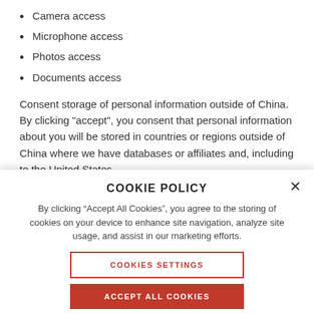Camera access
Microphone access
Photos access
Documents access
Consent storage of personal information outside of China. By clicking "accept", you consent that personal information about you will be stored in countries or regions outside of China where we have databases or affiliates and, including to the United States.
COOKIE POLICY
By clicking “Accept All Cookies”, you agree to the storing of cookies on your device to enhance site navigation, analyze site usage, and assist in our marketing efforts.
COOKIES SETTINGS
ACCEPT ALL COOKIES